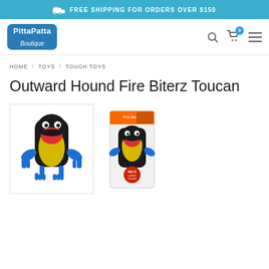FREE SHIPPING FOR ORDERS OVER $150
[Figure (logo): PittaPatta Boutique logo — blue rounded rectangle with white text]
HOME / TOYS / TOUGH TOYS
Outward Hound Fire Biterz Toucan
[Figure (photo): Two product photos of the Outward Hound Fire Biterz Toucan dog toy — a plush toucan bird toy with black body, yellow chest, red beak, and blue wings. Left image shows the toy alone; right image shows the toy in its retail packaging.]